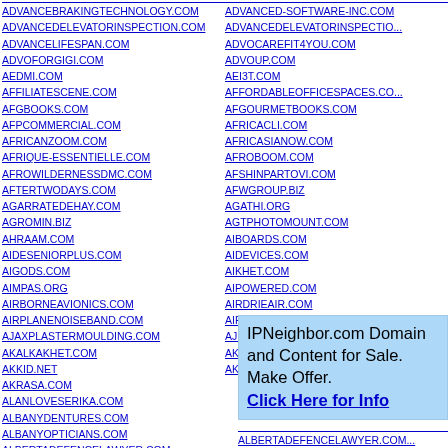ADVANCEBRAKINGTECHNOLOGY.COM
ADVANCEDELEVATORINSPECTION.COM
ADVANCELIFESPAN.COM
ADVOFORGIGI.COM
AEDMI.COM
AFFILIATESCENE.COM
AFGBOOKS.COM
AFPCOMMERCIAL.COM
AFRICANZOOM.COM
AFRIQUE-ESSENTIELLE.COM
AFROWILDERNESSDMC.COM
AFTERTWODAYS.COM
AGARRATEDEHAY.COM
AGROMIN.BIZ
AHRAAM.COM
AIDESENIORPLUS.COM
AIGODS.COM
AIMPAS.ORG
AIRBORNEAVIONICS.COM
AIRPLANENOISEBAND.COM
AJAXPLASTERMOULDING.COM
AKALKAKHET.COM
AKKID.NET
AKRASA.COM
ALANLOVESERIKA.COM
ALBANYDENTURES.COM
ALBANYOPTICIANS.COM
ALBERTADEFENCELAWYER.COM
ADVANCED-SOFTWARE-INC.COM
ADVANCEDELEVATORINSPECTIO...
ADVOCAREFIT4YOU.COM
ADVOUP.COM
AEI3T.COM
AFFORDABLEOFFICESPACES.CO...
AFGOURMETBOOKS.COM
AFRICACLI.COM
AFRICASIANOW.COM
AFROBOOM.COM
AFSHINPARTOVI.COM
AFWGROUP.BIZ
AGATHI.ORG
AGTPHOTOMOUNT.COM
AIBOARDS.COM
AIDEVICES.COM
AIKHET.COM
AIPOWERED.COM
AIRDRIEAIR.COM
AIRSALIN.INFO
AJEWEL254.COM
AKBANIES.COM
AKLOIT.COM
IPNeighbor.com Domain and Content for Sale. Make Offer. Click Here for Info